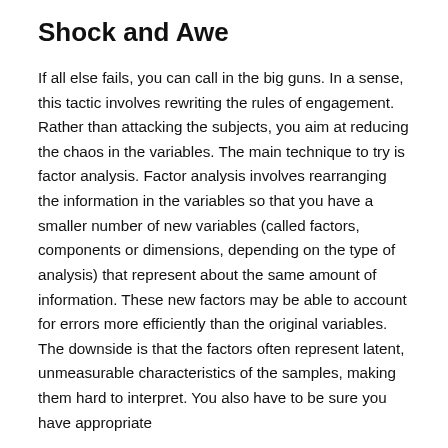Shock and Awe
If all else fails, you can call in the big guns. In a sense, this tactic involves rewriting the rules of engagement. Rather than attacking the subjects, you aim at reducing the chaos in the variables. The main technique to try is factor analysis. Factor analysis involves rearranging the information in the variables so that you have a smaller number of new variables (called factors, components or dimensions, depending on the type of analysis) that represent about the same amount of information. These new factors may be able to account for errors more efficiently than the original variables. The downside is that the factors often represent latent, unmeasurable characteristics of the samples, making them hard to interpret. You also have to be sure you have appropriate